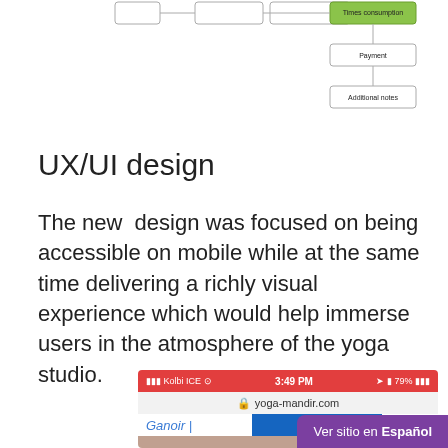[Figure (flowchart): Partial flowchart diagram showing boxes connected by lines, with a green highlighted box labeled 'Times consumption', and below it boxes labeled 'Payment' and 'Additional notes']
UX/UI design
The new design was focused on being accessible on mobile while at the same time delivering a richly visual experience which would help immerse users in the atmosphere of the yoga studio.
[Figure (screenshot): Mobile browser screenshot showing iPhone status bar with 'Kolbi ICE' carrier, 3:49 PM time, 79% battery on red background, URL bar showing yoga-mandir.com, navigation bar with 'Ganoir' text and blue element, and a purple badge saying 'Ver sitio en Español']